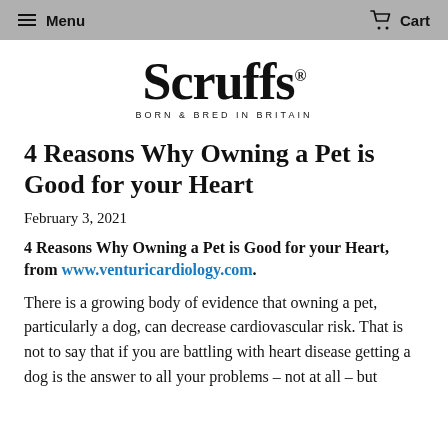Menu  Cart
[Figure (logo): Scruffs logo with tagline 'BORN & BRED IN BRITAIN']
4 Reasons Why Owning a Pet is Good for your Heart
February 3, 2021
4 Reasons Why Owning a Pet is Good for your Heart, from www.venturicardiology.com.
There is a growing body of evidence that owning a pet, particularly a dog, can decrease cardiovascular risk. That is not to say that if you are battling with heart disease getting a dog is the answer to all your problems – not at all – but